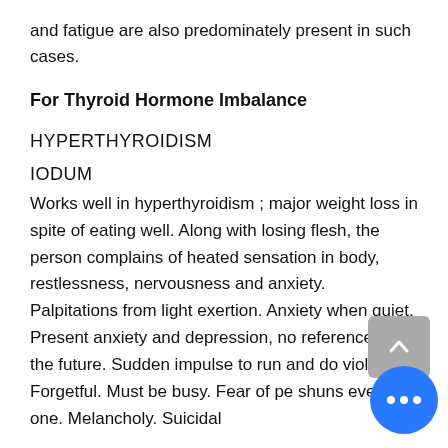and fatigue are also predominately present in such cases.
For Thyroid Hormone Imbalance
HYPERTHYROIDISM
IODUM
Works well in hyperthyroidism ; major weight loss in spite of eating well. Along with losing flesh, the person complains of heated sensation in body, restlessness, nervousness and anxiety. Palpitations from light exertion. Anxiety when quiet. Present anxiety and depression, no reference to the future. Sudden impulse to run and do viole... Forgetful. Must be busy. Fear of pe... shuns every one. Melancholy. Suicidal